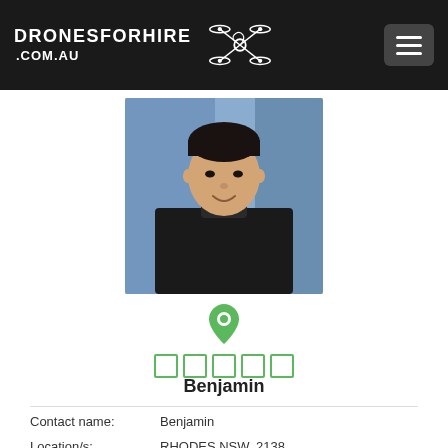DRONESFORHIRE .COM.AU
[Figure (photo): Profile photo of Benjamin, a young Asian man smiling, wearing a dark jacket, with blurred urban background]
[Figure (other): Green location pin icon above five green rating boxes]
Benjamin
Contact name:   Benjamin
Location/s:        RHODES NSW, 2138
Aerial photography capabilities